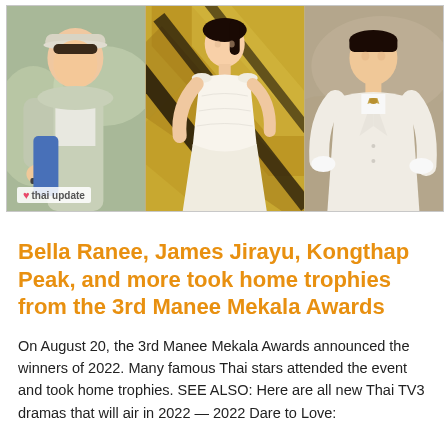[Figure (photo): Collage of three Thai celebrity photos: left - young man in casual outfit with cap, center - young woman in white dress posing against geometric gold background, right - young man in white formal suit with bow tie. Watermark 'thai update' in bottom left corner.]
Bella Ranee, James Jirayu, Kongthap Peak, and more took home trophies from the 3rd Manee Mekala Awards
On August 20, the 3rd Manee Mekala Awards announced the winners of 2022. Many famous Thai stars attended the event and took home trophies. SEE ALSO: Here are all new Thai TV3 dramas that will air in 2022 — 2022 Dare to Love: